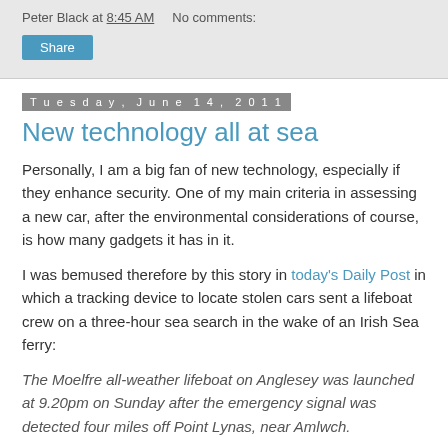Peter Black at 8:45 AM   No comments:
Share
Tuesday, June 14, 2011
New technology all at sea
Personally, I am a big fan of new technology, especially if they enhance security. One of my main criteria in assessing a new car, after the environmental considerations of course, is how many gadgets it has in it.
I was bemused therefore by this story in today's Daily Post in which a tracking device to locate stolen cars sent a lifeboat crew on a three-hour sea search in the wake of an Irish Sea ferry:
The Moelfre all-weather lifeboat on Anglesey was launched at 9.20pm on Sunday after the emergency signal was detected four miles off Point Lynas, near Amlwch.